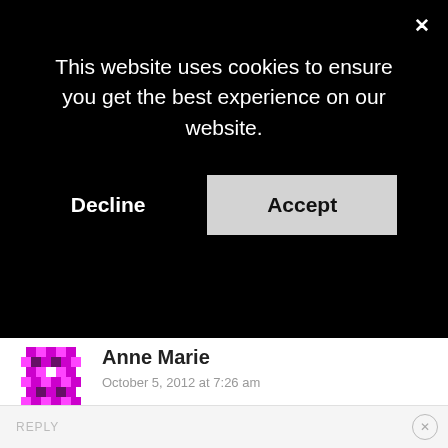[Figure (screenshot): Cookie consent banner overlay on a black background with 'This website uses cookies to ensure you get the best experience on our website.' text, a 'Decline' button and an 'Accept' button, and an X close button in the top right.]
Anne Marie
October 5, 2012 at 7:26 am
What a wonderful giveaway– would be thrilled to win.
Loading...
REPLY